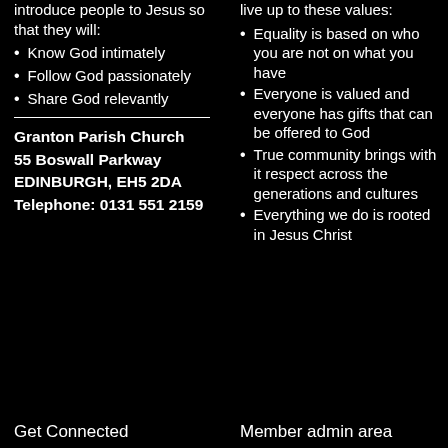introduce people to Jesus so that they will:
Know God intimately
Follow God passionately
Share God relevantly
Granton Parish Church
55 Boswall Parkway
EDINBURGH, EH5 2DA
Telephone: 0131 551 2159
live up to these values:
Equality is based on who you are not on what you have
Everyone is valued and everyone has gifts that can be offered to God
True community brings with it respect across the generations and cultures
Everything we do is rooted in Jesus Christ
Get Connected
Member admin area